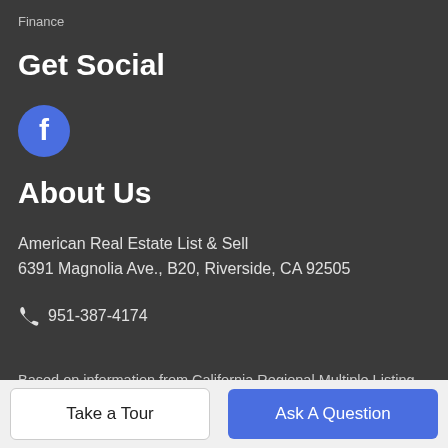Finance
Get Social
[Figure (logo): Facebook logo icon — blue circle with white letter f]
About Us
American Real Estate List & Sell
6391 Magnolia Ave., B20, Riverside, CA 92505
951-387-4174
Based on information from California Regional Multiple Listing Service, Inc. as of 2022-09-05T17:27:20.297. This information is for your personal, non-commercial use and may not be used for any purpose other than to identify prospective properties you may be
Take a Tour | Ask A Question